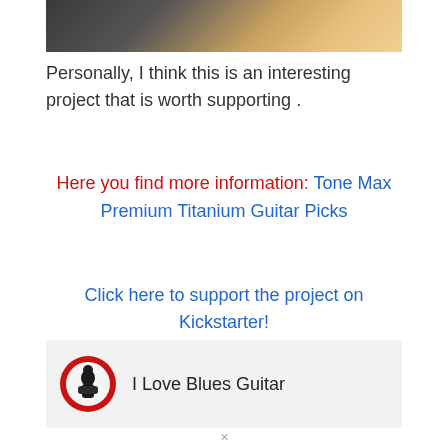[Figure (photo): Cropped photo showing legs and hands with warm light, partial image at top of page]
Personally, I think this is an interesting project that is worth supporting .
Here you find more information: Tone Max Premium Titanium Guitar Picks
Click here to support the project on Kickstarter!
I Love Blues Guitar